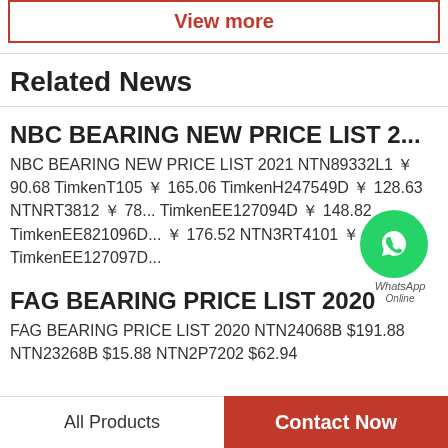View more
Related News
NBC BEARING NEW PRICE LIST 2...
NBC BEARING NEW PRICE LIST 2021 NTN89332L1 ￥ 90.68 TimkenT105 ￥ 165.06 TimkenH247549D ￥ 128.63 NTNRT3812 ￥ 78... TimkenEE127094D ￥ 148.82 TimkenEE821096D... ￥ 176.52 NTN3RT4101 ￥ 173.09 TimkenEE127097D...
FAG BEARING PRICE LIST 2020
FAG BEARING PRICE LIST 2020 NTN24068B $191.88 NTN23268B $15.88 NTN2P7202 $62.94
All Products
Contact Now